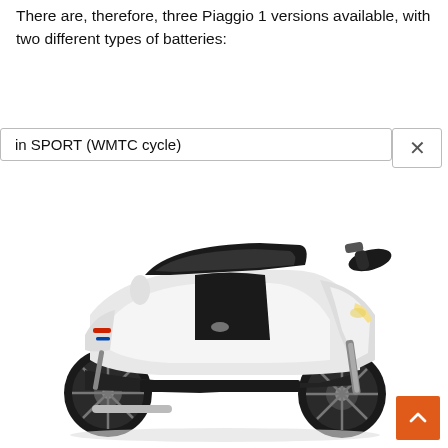There are, therefore, three Piaggio 1 versions available, with two different types of batteries:
in SPORT (WMTC cycle)
[Figure (photo): White Piaggio 1 electric scooter shown from the left side, with black seat, black wheels and white body panels.]